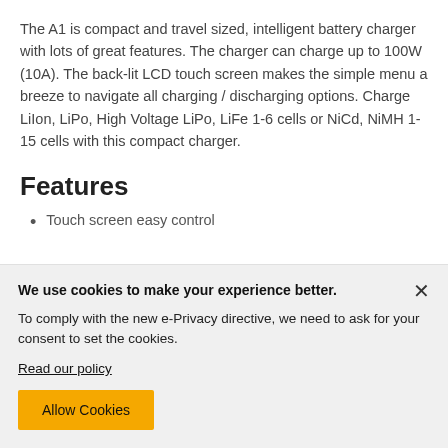The A1 is compact and travel sized, intelligent battery charger with lots of great features. The charger can charge up to 100W (10A). The back-lit LCD touch screen makes the simple menu a breeze to navigate all charging / discharging options. Charge LiIon, LiPo, High Voltage LiPo, LiFe 1-6 cells or NiCd, NiMH 1-15 cells with this compact charger.
Features
Touch screen easy control
We use cookies to make your experience better. To comply with the new e-Privacy directive, we need to ask for your consent to set the cookies. Read our policy. Allow Cookies.